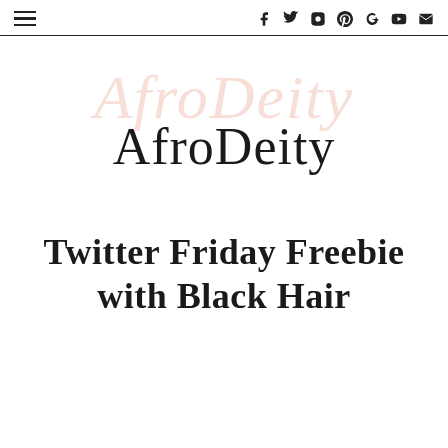AfroDeity — navigation and social icons bar
[Figure (logo): AfroDeity blog logo with decorative pink script watermark behind bold serif text 'AfroDeity']
Twitter Friday Freebie with Black Hair